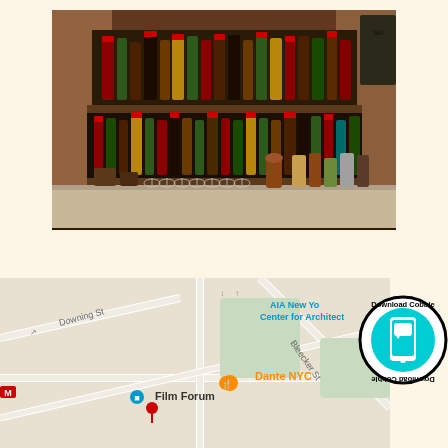[Figure (photo): Interior bar photo showing shelves lined with many liquor bottles of various types under a brick arch, with hanging wine glasses and a bar counter in the foreground.]
[Figure (map): Google Maps screenshot showing the area around Dante NYC restaurant in Greenwich Village, New York, with Downing St, Bleecker St, Film Forum, and AIA New York Center for Architecture labeled.]
[Figure (logo): Circular badge reading 'Download Cobble' around the border with an illustration of a smartphone in teal/cyan color in the center. The bottom half of the circle shows the text upside-down.]